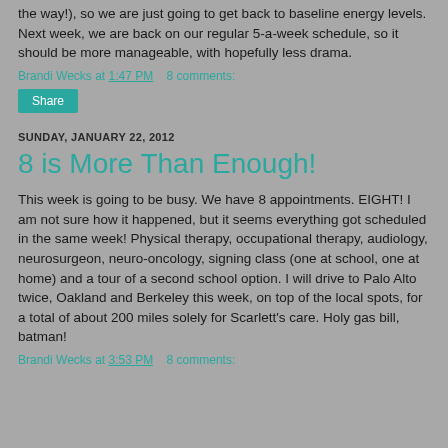the way!), so we are just going to get back to baseline energy levels.  Next week, we are back on our regular 5-a-week schedule, so it should be more manageable, with hopefully less drama.
Brandi Wecks at 1:47 PM   8 comments:
Share
SUNDAY, JANUARY 22, 2012
8 is More Than Enough!
This week is going to be busy.  We have 8 appointments. EIGHT!  I am not sure how it happened, but it seems everything got scheduled in the same week!  Physical therapy, occupational therapy, audiology, neurosurgeon, neuro-oncology, signing class (one at school, one at home) and a tour of a second school option.  I will drive to Palo Alto twice, Oakland and Berkeley this week, on top of the local spots, for a total of about 200 miles solely for Scarlett's care. Holy gas bill, batman!
Brandi Wecks at 3:53 PM   8 comments: